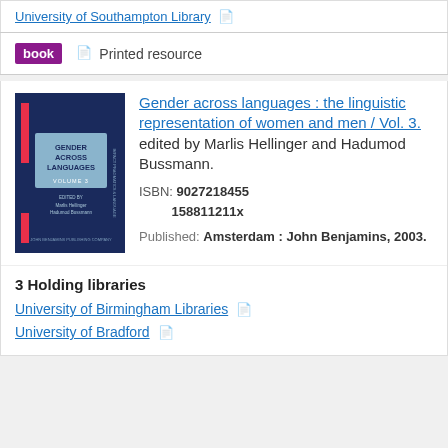University of Southampton Library
book  Printed resource
[Figure (illustration): Book cover of 'Gender Across Languages, Volume 3' with dark blue background and red accent bar, showing title and editor names]
Gender across languages : the linguistic representation of women and men / Vol. 3. edited by Marlis Hellinger and Hadumod Bussmann.
ISBN: 9027218455 158811211x
Published: Amsterdam : John Benjamins, 2003.
3 Holding libraries
University of Birmingham Libraries
University of Bradford